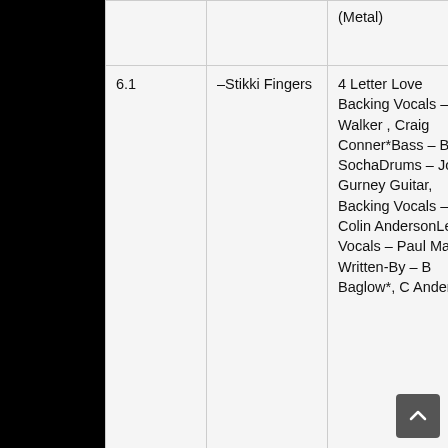| # | Artist | Details |
| --- | --- | --- |
|  |  | (Metal) |
| 6.1 | –Stikki Fingers | 4 Letter Love
Backing Vocals – A Walker , Craig Conner*Bass – Bria SochaDrums – Joh Gurney Guitar, Backing Vocals – Colin AndersonLead Vocals – Paul Mack Written-By – B Baglow*, C Anders |
| 6.2 | –The Hounds | Let It Out
Guitar – Stuart Ros Vocals – Julie Wemyss, Paul Mac Vocals, Keyboards – Craig Conner*Written By – C Conner* |
|  | –Bleeding | Just Do It
Guitar – Allan |